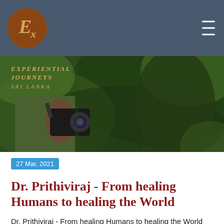[Figure (screenshot): Navigation bar with brown circular logo containing stylized 'Ex' text in gold italic font, dark gray background, and hamburger menu icon at top right]
[Figure (photo): Hero image showing a person in green clothing holding a camera in a jungle/forest setting, with an overlay text reading 'Experiential Journeys Sri Lanka' in gold italic letters]
27 Mar, 2021
Dr. Prithiviraj - From healing Humans to healing the World
Dr. Prithiviraj - From healing Humans to healing the World Finding purpose in life is a blessing and for Dr. Prithiviraj, that blessing has grown as the years have passed by. This MBBS Doctor has always been passionate about pachyderms, especially the Asian variety, and has over the years devoted more and